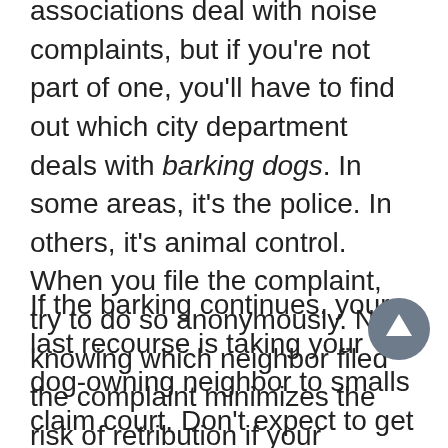associations deal with noise complaints, but if you're not part of one, you'll have to find out which city department deals with barking dogs. In some areas, it's the police. In others, it's animal control. When you file the complaint, try to do so anonymously. Not knowing which neighbor filed the complaint minimizes the risk of retribution if your neighbor is upset.
If the barking continues, your last recourse is taking your dog-owning neighbor to smalls claim court. Don't expect to get a big settlement from the case. At the most, you might get a paltry sum for pain and suffering. The biggest thing taking the